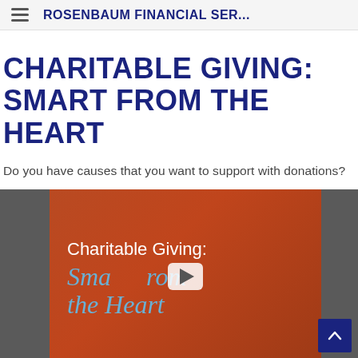ROSENBAUM FINANCIAL SER...
CHARITABLE GIVING: SMART FROM THE HEART
Do you have causes that you want to support with donations?
[Figure (screenshot): Video thumbnail with play button. Orange-red background. Text 'Charitable Giving:' in white and 'Smart from the Heart' in light blue italic. A play button is visible in the center.]